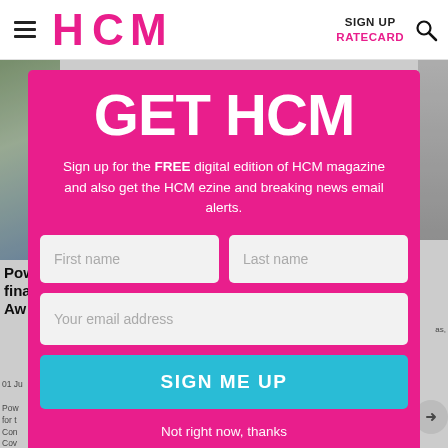HCM | SIGN UP | RATECARD
[Figure (screenshot): Background webpage content partially visible behind modal overlay showing article text and images]
GET HCM
Sign up for the FREE digital edition of HCM magazine and also get the HCM ezine and breaking news email alerts.
First name | Last name | Your email address
SIGN ME UP
Not right now, thanks